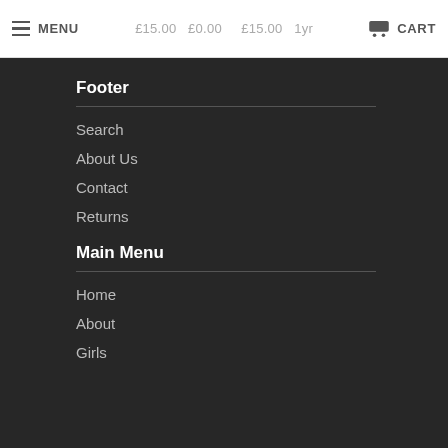MENU  £15.00  £0.00  £15.00  1yr  CART
Footer
Search
About Us
Contact
Returns
Main Menu
Home
About
Girls